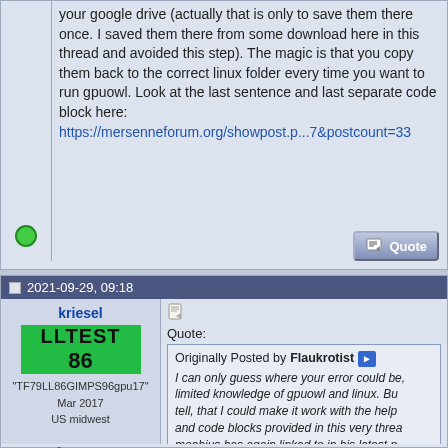your google drive (actually that is only to save them there once. I saved them there from some download here in this thread and avoided this step). The magic is that you copy them back to the correct linux folder every time you want to run gpuowl. Look at the last sentence and last separate code block here:
https://mersenneforum.org/showpost.p...7&postcount=33
2021-09-29, 09:18
kriesel
[Figure (other): Green badge showing LLTEST 86]
"TF79LL86GIMPS96gpu17"
Mar 2017
US midwest
2×3²×7×53 Posts
Quote:
Originally Posted by Flaukrotist
I can only guess where your error could be, with my limited knowledge of gpuowl and linux. But I can tell, that I could make it work with the help of hints and code blocks provided in this very thread that moebius has again linked to in his latest p...

One potential source of error I see from yo... about copying the files. The magic is not to... your google drive (actually that is only to s... there once. I saved them there from some ... here in this thread and avoided this step). ... that you copy them back to the correct linu... time you want to run gpuowl. Look at the la... and last separate code block here: